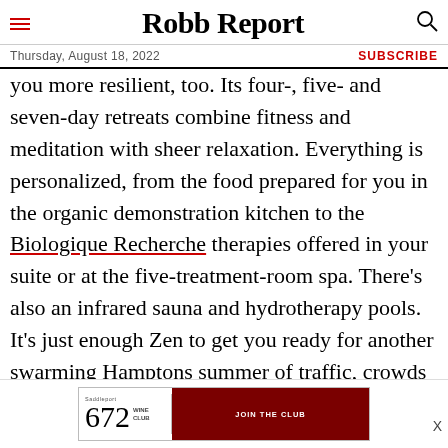Robb Report
Thursday, August 18, 2022 | SUBSCRIBE
you more resilient, too. Its four-, five- and seven-day retreats combine fitness and meditation with sheer relaxation. Everything is personalized, from the food prepared for you in the organic demonstration kitchen to the Biologique Recherche therapies offered in your suite or at the five-treatment-room spa. There’s also an infrared sauna and hydrotherapy pools. It’s just enough Zen to get you ready for another swarming Hamptons summer of traffic, crowds—and, with some luck, a little bit of R and R.
[Figure (advertisement): Saddleport 672 Wine Club advertisement with JOIN THE CLUB button]